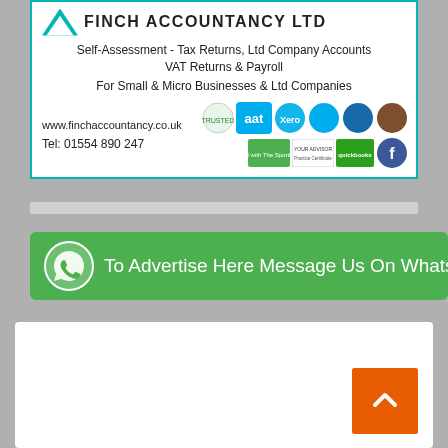[Figure (logo): Finch Accountancy Ltd advertisement card with logo, services listed, website, phone number, and accreditation badges]
Self-Assessment - Tax Returns, Ltd Company Accounts
VAT Returns & Payroll
For Small & Micro Businesses & Ltd Companies
www.finchaccountancy.co.uk
Tel: 01554 890 247
[Figure (infographic): Gray horizontal divider bar]
To Advertise Here Message Us On Whats
[Figure (infographic): Orange scroll-to-top button with upward chevron arrow]